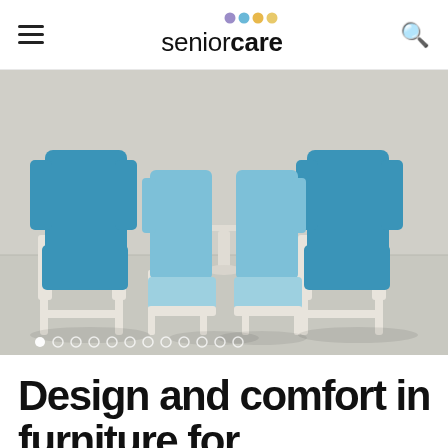senior care
[Figure (photo): Four blue upholstered chairs arranged in a semicircle on a light grey floor against a light grey wall. Two large high-back chairs with white wooden frames on the left and right, and two lighter blue reclining chairs with footrests in the center.]
Design and comfort in furniture for